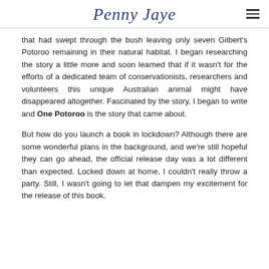Penny Jaye
that had swept through the bush leaving only seven Gilbert's Potoroo remaining in their natural habitat. I began researching the story a little more and soon learned that if it wasn't for the efforts of a dedicated team of conservationists, researchers and volunteers this unique Australian animal might have disappeared altogether. Fascinated by the story, I began to write and One Potoroo is the story that came about.
But how do you launch a book in lockdown? Although there are some wonderful plans in the background, and we're still hopeful they can go ahead, the official release day was a lot different than expected. Locked down at home, I couldn't really throw a party. Still, I wasn't going to let that dampen my excitement for the release of this book.